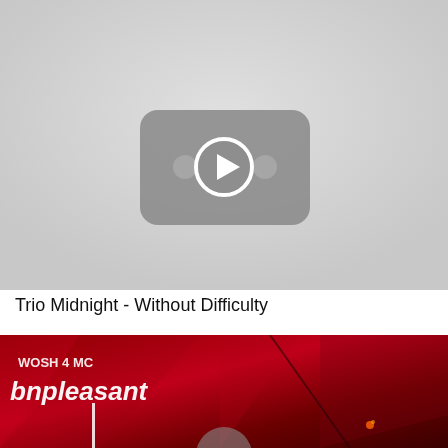[Figure (screenshot): YouTube-style video thumbnail placeholder showing a grey background with a YouTube play button icon (rounded rectangle with play triangle and two dots) in grey tones]
Trio Midnight - Without Difficulty
[Figure (photo): Dark red/crimson album artwork photo with text 'WOSH 4 MC' and 'bnpleasant' visible in white, showing fabric or textile material, partially cropped]